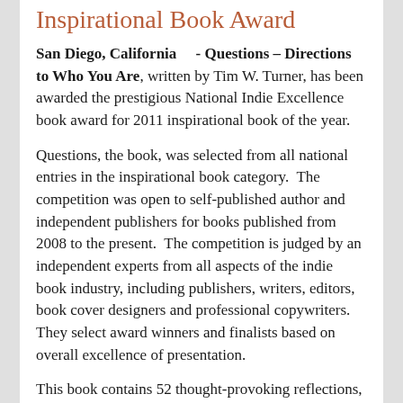Inspirational Book Award
San Diego, California    - Questions – Directions to Who You Are, written by Tim W. Turner, has been awarded the prestigious National Indie Excellence book award for 2011 inspirational book of the year.
Questions, the book, was selected from all national entries in the inspirational book category.  The competition was open to self-published author and independent publishers for books published from 2008 to the present.  The competition is judged by an independent experts from all aspects of the indie book industry, including publishers, writers, editors, book cover designers and professional copywriters. They select award winners and finalists based on overall excellence of presentation.
This book contains 52 thought-provoking reflections, each inspired by just one word.  It is thought provoking, paradigm shifting, regret building and hope kindling. This book can be read in a few hours, but will last a lifetime. It's